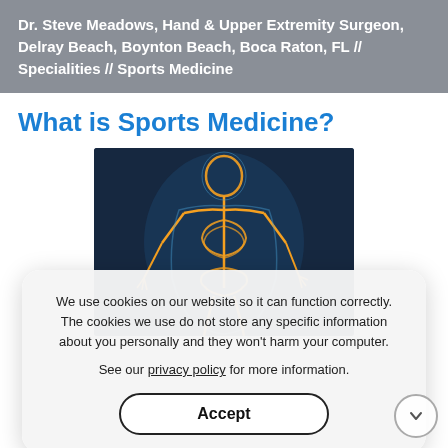Dr. Steve Meadows, Hand & Upper Extremity Surgeon, Delray Beach, Boynton Beach, Boca Raton, FL // Specialities // Sports Medicine
What is Sports Medicine?
[Figure (illustration): Medical illustration of a glowing human skeleton overlaid on a body silhouette, shown in orange/yellow tones against a dark blue background, depicting musculoskeletal anatomy used in sports medicine context.]
We use cookies on our website so it can function correctly. The cookies we use do not store any specific information about you personally and they won't harm your computer.

See our privacy policy for more information.
Accept